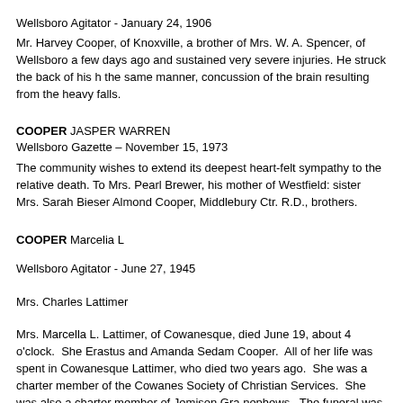Wellsboro Agitator - January 24, 1906
Mr. Harvey Cooper, of Knoxville, a brother of Mrs. W. A. Spencer, of Wellsboro a few days ago and sustained very severe injuries. He struck the back of his h the same manner, concussion of the brain resulting from the heavy falls.
COOPER JASPER WARREN
Wellsboro Gazette – November 15, 1973
The community wishes to extend its deepest heart-felt sympathy to the relative death. To Mrs. Pearl Brewer, his mother of Westfield: sister Mrs. Sarah Bieser Almond Cooper, Middlebury Ctr. R.D., brothers.
COOPER Marcelia L
Wellsboro Agitator - June 27, 1945
Mrs. Charles Lattimer
Mrs. Marcella L. Lattimer, of Cowanesque, died June 19, about 4 o’clock. She Erastus and Amanda Sedam Cooper. All of her life was spent in Cowanesque Lattimer, who died two years ago. She was a charter member of the Cowanes Society of Christian Services. She was also a charter member of Jemison Gra nephews. The funeral was held Friday at the Cowanesque Methodist church, Cemetery.